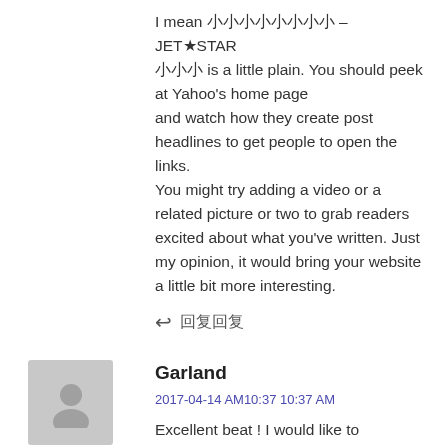I mean 小小小小小小小小 – JET★STAR 小小小 is a little plain. You should peek at Yahoo's home page and watch how they create post headlines to get people to open the links. You might try adding a video or a related picture or two to grab readers excited about what you've written. Just my opinion, it would bring your website a little bit more interesting.
↩ 回复回复
Garland
2017-04-14 AM10:37 10:37 AM
Excellent beat ! I would like to apprentice while you amend your site, how could i subscribe for a blog site?